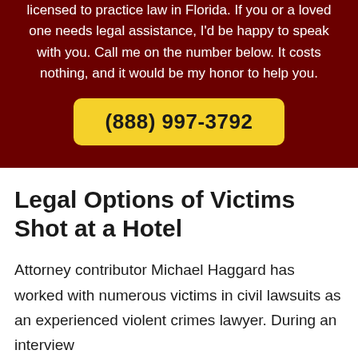licensed to practice law in Florida. If you or a loved one needs legal assistance, I'd be happy to speak with you. Call me on the number below. It costs nothing, and it would be my honor to help you.
(888) 997-3792
Legal Options of Victims Shot at a Hotel
Attorney contributor Michael Haggard has worked with numerous victims in civil lawsuits as an experienced violent crimes lawyer. During an interview...